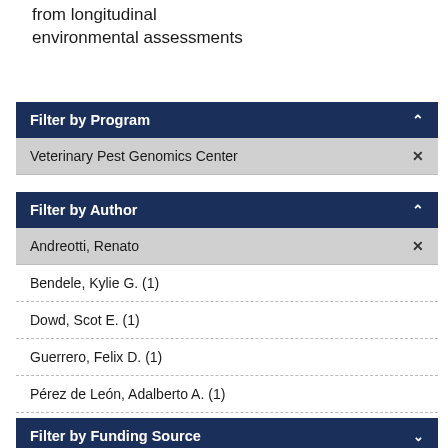from longitudinal environmental assessments
Filter by Program
Veterinary Pest Genomics Center ×
Filter by Author
Andreotti, Renato ×
Bendele, Kylie G. (1)
Dowd, Scot E. (1)
Guerrero, Felix D. (1)
Pérez de León, Adalberto A. (1)
Scoles, Glen A. (1)
Filter by Funding Source